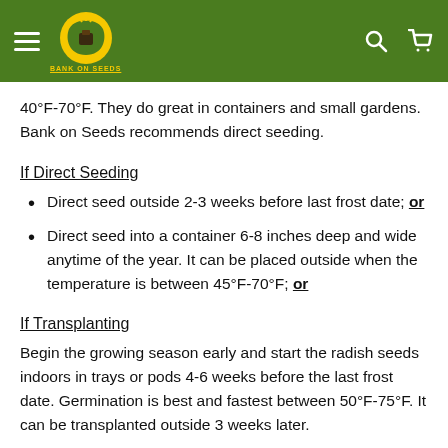Bank on Seeds
40°F-70°F. They do great in containers and small gardens. Bank on Seeds recommends direct seeding.
If Direct Seeding
Direct seed outside 2-3 weeks before last frost date; or
Direct seed into a container 6-8 inches deep and wide anytime of the year. It can be placed outside when the temperature is between 45°F-70°F; or
If Transplanting
Begin the growing season early and start the radish seeds indoors in trays or pods 4-6 weeks before the last frost date. Germination is best and fastest between 50°F-75°F. It can be transplanted outside 3 weeks later.